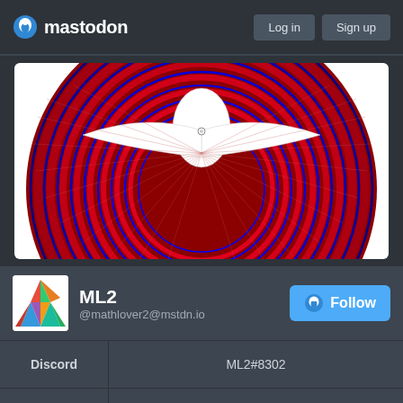mastodon | Log in | Sign up
[Figure (illustration): Abstract mathematical art showing concentric circles in dark red with blue outlines, and radiating lines forming a symmetrical mandala-like pattern on white background. Central figure resembles a stylized bird or geometric shape with wing-like structures.]
ML2
@mathlover2@mstdn.io
| Field | Value |
| --- | --- |
| Discord | ML2#8302 |
| Website: | mathlover2.neocities.org |